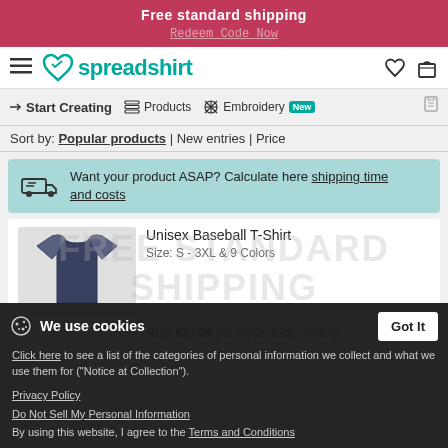Free standard shipping
Redeem Code Now
[Figure (logo): Spreadshirt logo with teal heart and text, hamburger menu, heart icon, and cart icon]
Start Creating | Products | Embroidery New
Sort by: Popular products | New entries | Price
Want your product ASAP? Calculate here shipping time and costs
Unisex Baseball T-Shirt
Size: S - 3XL & 9 Colors
We use cookies
Got It
Click here to see a list of the categories of personal information we collect and what we use them for ("Notice at Collection").
Privacy Policy
Do Not Sell My Personal Information
By using this website, I agree to the Terms and Conditions
from $21.99 per piece, excl. printing